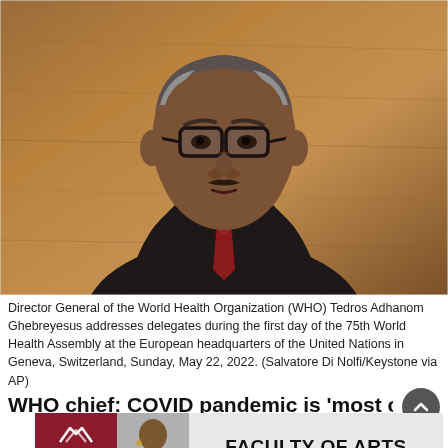[Figure (photo): Portrait photo of a man in a dark suit with a red tie and glasses, speaking at a podium. Background is a wooden panel. This is Tedros Adhanom Ghebreyesus, Director General of the WHO.]
Director General of the World Health Organization (WHO) Tedros Adhanom Ghebreyesus addresses delegates during the first day of the 75th World Health Assembly at the European headquarters of the United Nations in Geneva, Switzerland, Sunday, May 22, 2022. (Salvatore Di Nolfi/Keystone via AP)
WHO chief: COVID pandemic is 'most certain...
[Figure (photo): Advertisement banner for KPU Faculty of Arts showing the KPU logo in dark red on the left, a photo of a person in the center-left, and 'FACULTY OF ARTS' text in bold on the right.]